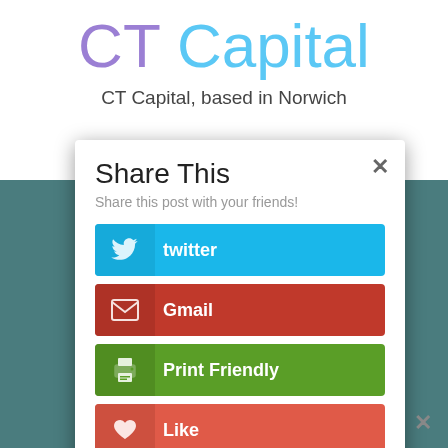CT Capital
CT Capital, based in Norwich
Share This
Share this post with your friends!
twitter
Gmail
Print Friendly
Like
Yahoo Mail